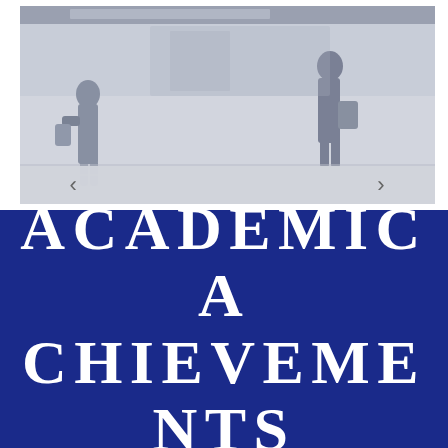[Figure (photo): A street scene photograph with people walking, shown in grayscale/muted tones, with navigation arrows (< and >) overlaid at the bottom, suggesting an image carousel or slideshow.]
ACADEMIC ACHIEVEMENTS